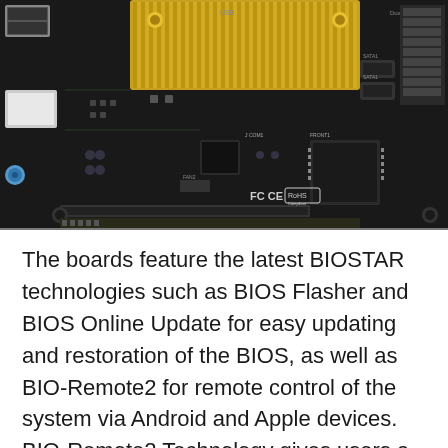[Figure (photo): Close-up photo of a BIOSTAR motherboard showing the PCB with gold heatsink, USB ports, FC CE RoHS compliance logos, SATA connectors, chips, and various electronic components on a black circuit board.]
The boards feature the latest BIOSTAR technologies such as BIOS Flasher and BIOS Online Update for easy updating and restoration of the BIOS, as well as BIO-Remote2 for remote control of the system via Android and Apple devices. BIO-Remote2 Technology gives users a better Home Theater environment. Users who own either Android or Apple mobile devices are able to access and control the PC remotely. You're smart device can become an